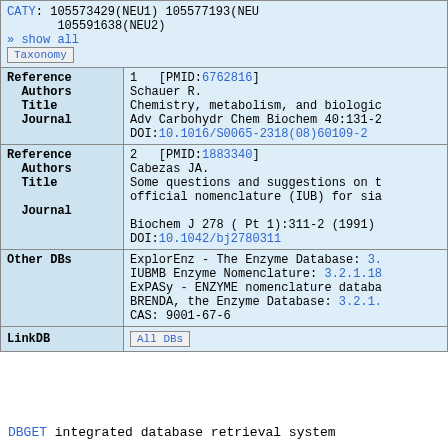| Field | Value |
| --- | --- |
|  | CATY: 105573429(NEU1) 105577193(NEU...) 105591638(NEU2)
» show all
Taxonomy |
| Reference Authors Title Journal | 1 [PMID:6762816]
Schauer R.
Chemistry, metabolism, and biologic...
Adv Carbohydr Chem Biochem 40:131-2
DOI:10.1016/S0065-2318(08)60109-2 |
| Reference Authors Title Journal | 2 [PMID:1883340]
Cabezas JA.
Some questions and suggestions on t...
official nomenclature (IUB) for sia...
Biochem J 278 ( Pt 1):311-2 (1991)
DOI:10.1042/bj2780311 |
| Other DBs | ExplorEnz - The Enzyme Database: 3.
IUBMB Enzyme Nomenclature: 3.2.1.18
ExPASy - ENZYME nomenclature databa...
BRENDA, the Enzyme Database: 3.2.1.
CAS: 9001-67-6 |
| LinkDB | All DBs |
DBGET integrated database retrieval system